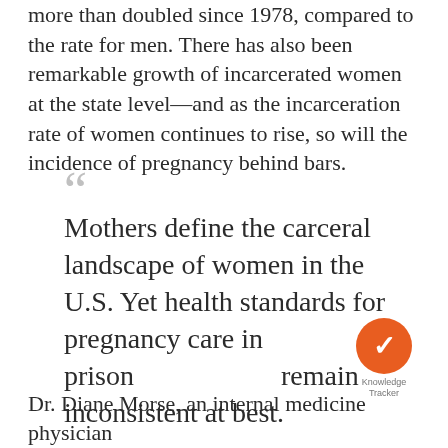more than doubled since 1978, compared to the rate for men. There has also been remarkable growth of incarcerated women at the state level—and as the incarceration rate of women continues to rise, so will the incidence of pregnancy behind bars.
Mothers define the carceral landscape of women in the U.S. Yet health standards for pregnancy care in prison remain inconsistent at best.
[Figure (logo): Knowledge Tracker badge: orange circle with white checkmark, labeled 'Knowledge Tracker']
Dr. Diane Morse, an internal medicine physician